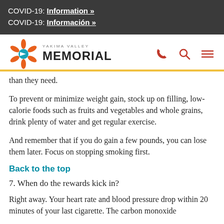COVID-19: Information »
COVID-19: Información »
[Figure (logo): Yakima Valley Memorial hospital logo with colorful snowflake/star icon and bold MEMORIAL text]
than they need.
To prevent or minimize weight gain, stock up on filling, low-calorie foods such as fruits and vegetables and whole grains, drink plenty of water and get regular exercise.
And remember that if you do gain a few pounds, you can lose them later. Focus on stopping smoking first.
Back to the top
7. When do the rewards kick in?
Right away. Your heart rate and blood pressure drop within 20 minutes of your last cigarette. The carbon monoxide